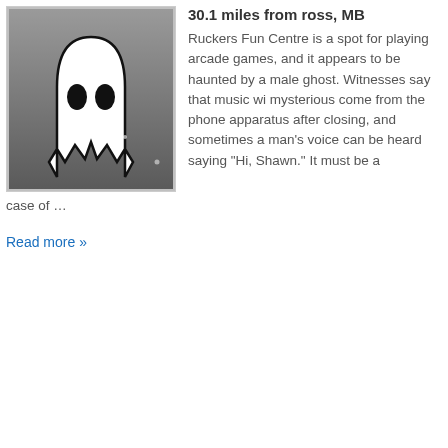[Figure (illustration): Ghost silhouette icon — a dark grey rounded ghost shape with a jagged bottom edge on a gradient grey background, framed with a light grey border]
30.1 miles from ross, MB
Ruckers Fun Centre is a spot for playing arcade games, and it appears to be haunted by a male ghost. Witnesses say that music wi mysterious come from the phone apparatus after closing, and sometimes a man's voice can be heard saying "Hi, Shawn." It must be a case of …
Read more »